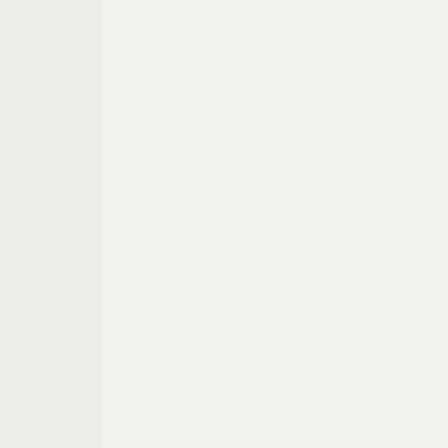radiation protection without NASA.
There is no low-G / micro-G mitigation strategy without NASA.